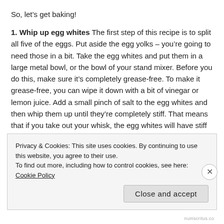So, let's get baking!
1. Whip up egg whites The first step of this recipe is to split all five of the eggs. Put aside the egg yolks – you're going to need those in a bit. Take the egg whites and put them in a large metal bowl, or the bowl of your stand mixer. Before you do this, make sure it's completely grease-free. To make it grease-free, you can wipe it down with a bit of vinegar or lemon juice. Add a small pinch of salt to the egg whites and then whip them up until they're completely stiff. That means that if you take out your whisk, the egg whites will have stiff peaks. Put the bowl to the side for now.
Privacy & Cookies: This site uses cookies. By continuing to use this website, you agree to their use.
To find out more, including how to control cookies, see here: Cookie Policy
Close and accept